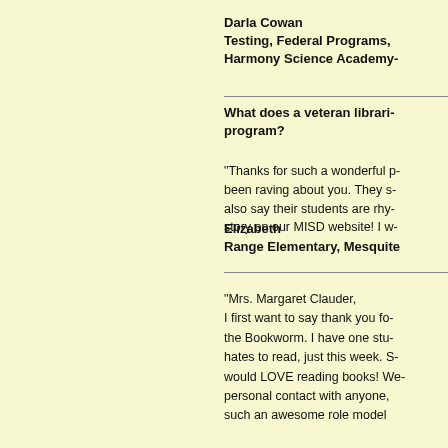Darla Cowan
Testing, Federal Programs,
Harmony Science Academy-
What does a veteran librari- program?
"Thanks for such a wonderful p- been raving about you. They s- also say their students are rhy- story on our MISD website! I w-
Elizabeth
Range Elementary, Mesquite
"Mrs. Margaret Clauder,
I first want to say thank you fo- the Bookworm. I have one stu- hates to read, just this week. S- would LOVE reading books! We- personal contact with anyone, such an awesome role model